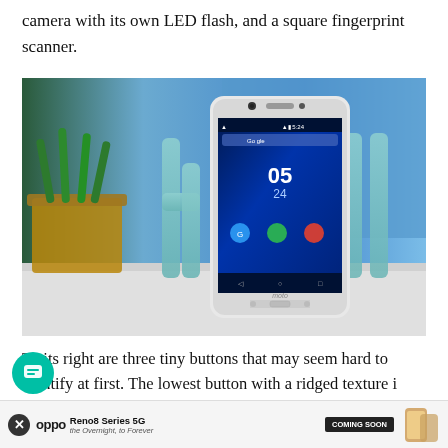camera with its own LED flash, and a square fingerprint scanner.
[Figure (photo): A white Moto Z smartphone displayed upright showing its Android home screen with the time 05:24, set against a teal 'hello' sign and a green plant in a pot.]
To its right are three tiny buttons that may seem hard to identify at first. The lowest button with a ridged texture is the power/lock key while the two slim buttons above are the volum